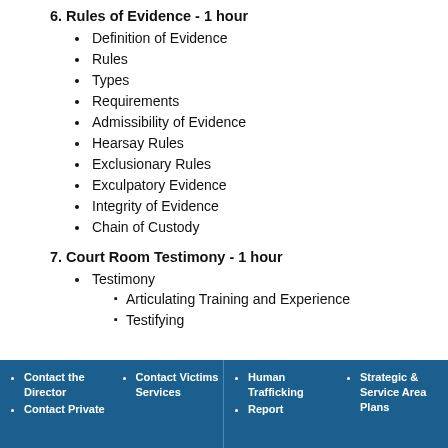6. Rules of Evidence - 1 hour
Definition of Evidence
Rules
Types
Requirements
Admissibility of Evidence
Hearsay Rules
Exclusionary Rules
Exculpatory Evidence
Integrity of Evidence
Chain of Custody
7. Court Room Testimony - 1 hour
Testimony
Articulating Training and Experience
Testifying
Contact the Director | Contact Private | Contact Victims Services | Human Trafficking | Report | Strategic & Service Area Plans